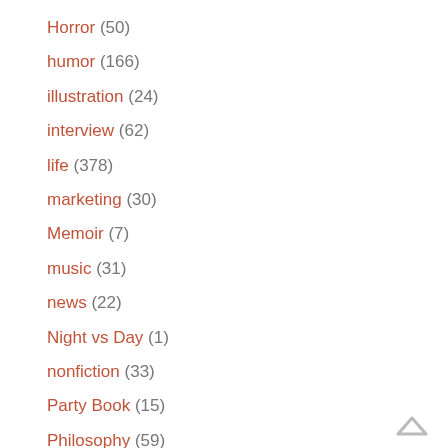Horror (50)
humor (166)
illustration (24)
interview (62)
life (378)
marketing (30)
Memoir (7)
music (31)
news (22)
Night vs Day (1)
nonfiction (33)
Party Book (15)
Philosophy (59)
Photography (10)
Podcasts (2)
Poetry (10)